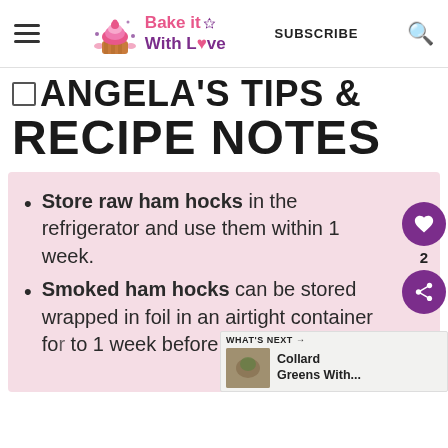Bake it With Love — SUBSCRIBE
ANGELA'S TIPS & RECIPE NOTES
Store raw ham hocks in the refrigerator and use them within 1 week.
Smoked ham hocks can be stored wrapped in foil in an airtight container for to 1 week before needing